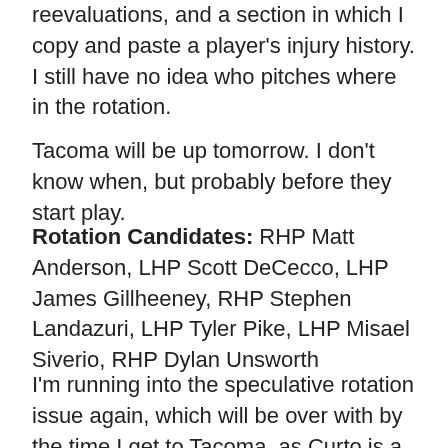reevaluations, and a section in which I copy and paste a player's injury history. I still have no idea who pitches where in the rotation.
Tacoma will be up tomorrow. I don't know when, but probably before they start play.
Rotation Candidates: RHP Matt Anderson, LHP Scott DeCecco, LHP James Gillheeney, RHP Stephen Landazuri, LHP Tyler Pike, LHP Misael Siverio, RHP Dylan Unsworth
I'm running into the speculative rotation issue again, which will be over with by the time I get to Tacoma, as Curto is a real pal. Of course, the bummer in all this, for both me and the members of the roster, is that there are that may guys above who have been mostly starters for their careers and I don't have the least idea of how the rotation t...